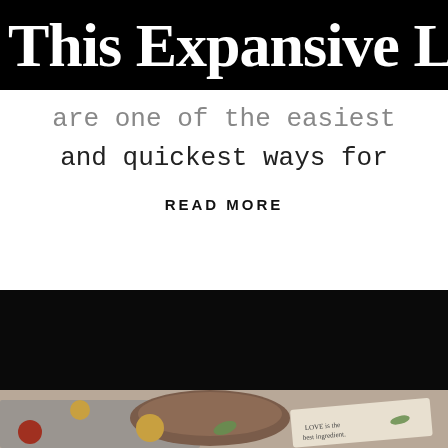This Expansive Life
are one of the easiest
and quickest ways for
READ MORE
[Figure (photo): Dark band / black background section separator]
[Figure (photo): Overhead shot of a wooden bowl with apples and leaves on a linen cloth that reads 'LOVE is the best ingredient', with apples scattered on a stone surface]